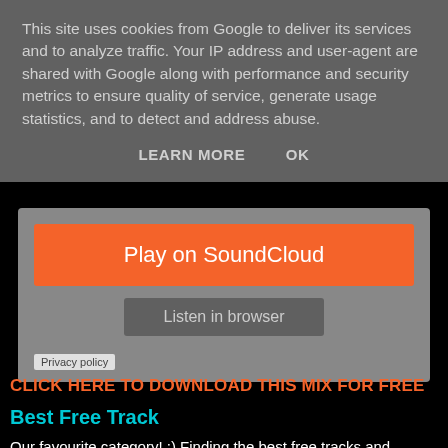This site uses cookies from Google to deliver its services and to analyze traffic. Your IP address and user-agent are shared with Google along with performance and security metrics to ensure quality of service, generate usage statistics, and to detect and address abuse.
LEARN MORE   OK
[Figure (screenshot): SoundCloud embedded player with orange 'Play on SoundCloud' button and 'Listen in browser' button on grey background]
Privacy policy
CLICK HERE TO DOWNLOAD THIS MIX FOR FREE
Best Free Track
Our favourite category! :) Finding the best free tracks and